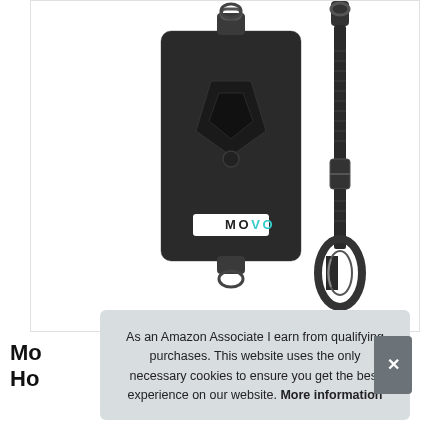[Figure (photo): Product photo showing a black Movo brand phone/microphone pouch with a logo on the front, plus a black adjustable strap with a carabiner clip on the right side, shown against a white background.]
Mo...
Ho...
As an Amazon Associate I earn from qualifying purchases. This website uses the only necessary cookies to ensure you get the best experience on our website. More information